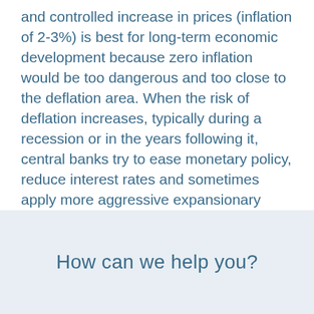and controlled increase in prices (inflation of 2-3%) is best for long-term economic development because zero inflation would be too dangerous and too close to the deflation area. When the risk of deflation increases, typically during a recession or in the years following it, central banks try to ease monetary policy, reduce interest rates and sometimes apply more aggressive expansionary measures (such as quantitative easing) to stimulate economic activity and prevent prices from falling. Since the 2008 financial crisis, this has been the main driving force of economic policy in most developed countries, including the US, UK, Eurozone and Japan.
How can we help you?